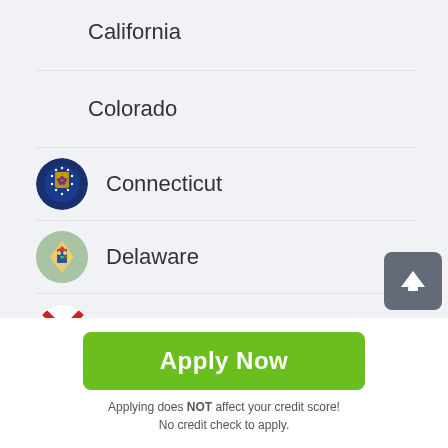California
Colorado
Connecticut
Delaware
Florida
Georgia
[Figure (other): Green Apply Now button]
Applying does NOT affect your credit score!
No credit check to apply.